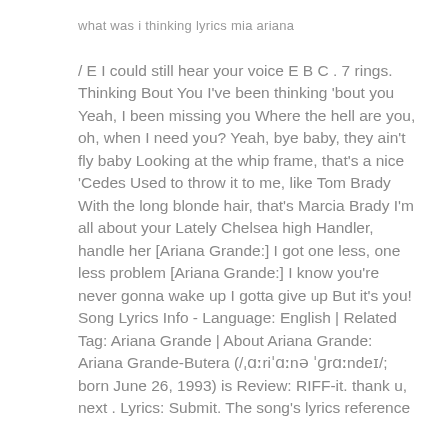what was i thinking lyrics mia ariana
/ E I could still hear your voice E B C . 7 rings. Thinking Bout You I've been thinking 'bout you Yeah, I been missing you Where the hell are you, oh, when I need you? Yeah, bye baby, they ain't fly baby Looking at the whip frame, that's a nice 'Cedes Used to throw it to me, like Tom Brady With the long blonde hair, that's Marcia Brady I'm all about your Lately Chelsea high Handler, handle her [Ariana Grande:] I got one less, one less problem [Ariana Grande:] I know you're never gonna wake up I gotta give up But it's you! Song Lyrics Info - Language: English | Related Tag: Ariana Grande | About Ariana Grande: Ariana Grande-Butera (/ˌɑːriˈɑːnə ˈɡrɑːndeɪ/; born June 26, 1993) is Review: RIFF-it. thank u, next . Lyrics: Submit. The song's lyrics reference